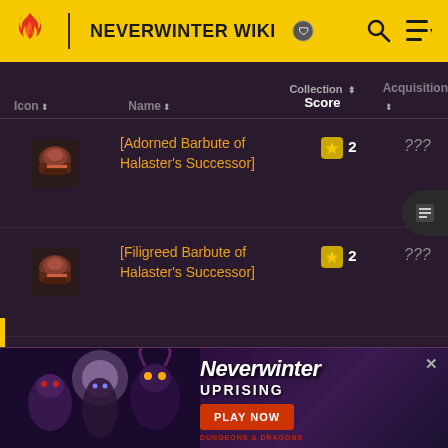NEVERWINTER WIKI
| Icon | Name | Collection Score | Acquisition |
| --- | --- | --- | --- |
| [icon] | [Adorned Barbute of Halaster's Successor] | ★ 2 | ??? |
| [icon] | [Filigreed Barbute of Halaster's Successor] | ★ 2 | ??? |
| [icon] | [Plated Greaves of ... | ★ 2 | ??? |
[Figure (screenshot): Neverwinter Uprising advertisement banner with play now button]